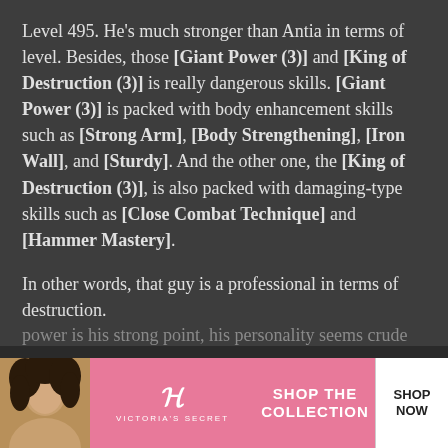Level 495. He's much stronger than Antia in terms of level. Besides, those [Giant Power (3)] and [King of Destruction (3)] is really dangerous skills. [Giant Power (3)] is packed with body enhancement skills such as [Strong Arm], [Body Strengthening], [Iron Wall], and [Sturdy]. And the other one, the [King of Destruction (3)], is also packed with damaging-type skills such as [Close Combat Technique] and [Hammer Mastery].

In other words, that guy is a professional in terms of destruction.

Well, with such a big body, I can see that destroying power is his strong point, his personality seems crude…
[Figure (photo): Victoria's Secret advertisement banner showing a woman with curly hair, the Victoria's Secret logo, text 'SHOP THE COLLECTION' and a 'SHOP NOW' button]